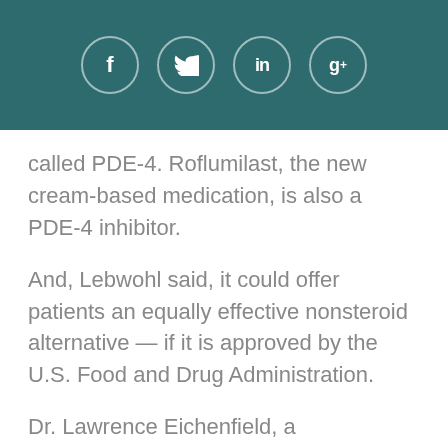[Figure (other): Social media share buttons bar with Facebook, Twitter, LinkedIn, and Google+ icons on a dark teal background]
called PDE-4. Roflumilast, the new cream-based medication, is also a PDE-4 inhibitor.
And, Lebwohl said, it could offer patients an equally effective nonsteroid alternative — if it is approved by the U.S. Food and Drug Administration.
Dr. Lawrence Eichenfield, a dermatologist who was not involved in the study, agreed that a new